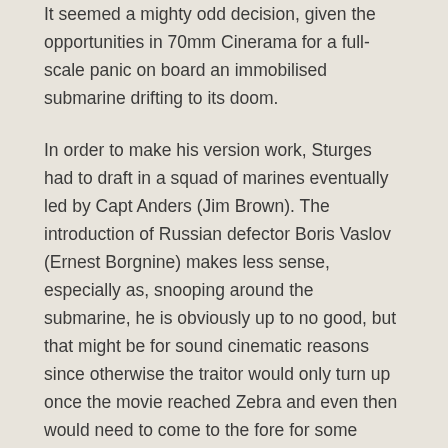It seemed a mighty odd decision, given the opportunities in 70mm Cinerama for a full-scale panic on board an immobilised submarine drifting to its doom.
In order to make his version work, Sturges had to draft in a squad of marines eventually led by Capt Anders (Jim Brown). The introduction of Russian defector Boris Vaslov (Ernest Borgnine) makes less sense, especially as, snooping around the submarine, he is obviously up to no good, but that might be for sound cinematic reasons since otherwise the traitor would only turn up once the movie reached Zebra and even then would need to come to the fore for some obvious reason.
Interestingly, the screenplay omits one element. Heading the Zebra Arctic operation is the older brother